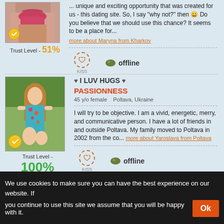[Figure (photo): Partial profile photo of woman in bikini top, with gold sun/checkmark trust badge overlay]
Trust Level - 51%
... unique and exciting opportunity that was created for us - this dating site. So, I say 'why not?' then 😊 Do you believe that we should use this chance? It seems to be a place for...
more about Maryna from Kharkov
KISS
offline
[Figure (photo): Profile photo of young woman with long wavy hair in a floral dress sitting outdoors on grass, with gold sun/checkmark trust badge overlay]
Trust Level - 100%
♥ I LUV HUGS ♥
PASSIONNESS
45 y/o female   Poltava, Ukraine
I will try to be objective. I am a vivid, energetic, merry, and communicative person. I have a lot of friends in and outside Poltava. My family moved to Poltava in 2002 from the co...
more about Yaroslava from Poltava
KISS
offline
We use cookies to make sure you can have the best experience on our website. If you continue to use this site we assume that you will be happy with it.
Ok